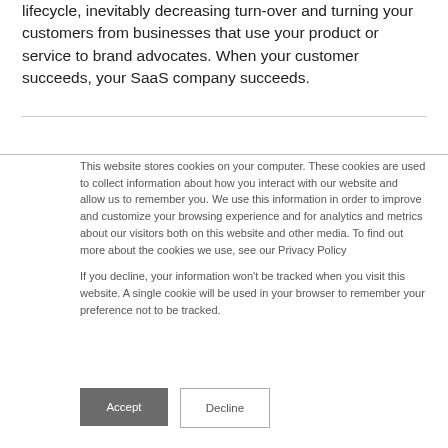lifecycle, inevitably decreasing turn-over and turning your customers from businesses that use your product or service to brand advocates. When your customer succeeds, your SaaS company succeeds.
This website stores cookies on your computer. These cookies are used to collect information about how you interact with our website and allow us to remember you. We use this information in order to improve and customize your browsing experience and for analytics and metrics about our visitors both on this website and other media. To find out more about the cookies we use, see our Privacy Policy

If you decline, your information won't be tracked when you visit this website. A single cookie will be used in your browser to remember your preference not to be tracked.